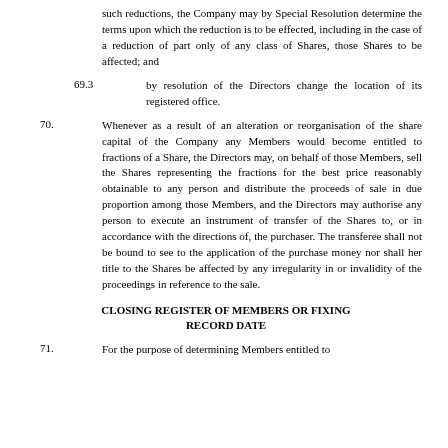such reductions, the Company may by Special Resolution determine the terms upon which the reduction is to be effected, including in the case of a reduction of part only of any class of Shares, those Shares to be affected; and
69.3   by resolution of the Directors change the location of its registered office.
70.   Whenever as a result of an alteration or reorganisation of the share capital of the Company any Members would become entitled to fractions of a Share, the Directors may, on behalf of those Members, sell the Shares representing the fractions for the best price reasonably obtainable to any person and distribute the proceeds of sale in due proportion among those Members, and the Directors may authorise any person to execute an instrument of transfer of the Shares to, or in accordance with the directions of, the purchaser. The transferee shall not be bound to see to the application of the purchase money nor shall her title to the Shares be affected by any irregularity in or invalidity of the proceedings in reference to the sale.
CLOSING REGISTER OF MEMBERS OR FIXING RECORD DATE
71.   For the purpose of determining Members entitled to